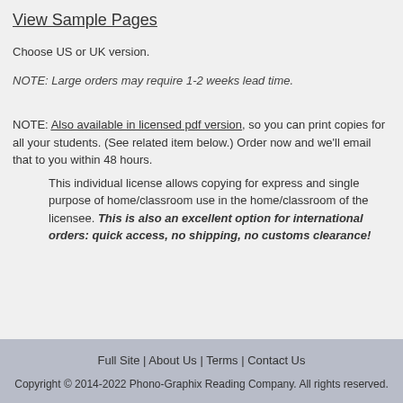View Sample Pages
Choose US or UK version.
NOTE: Large orders may require 1-2 weeks lead time.
NOTE: Also available in licensed pdf version, so you can print copies for all your students. (See related item below.) Order now and we'll email that to you within 48 hours.
This individual license allows copying for express and single purpose of home/classroom use in the home/classroom of the licensee. This is also an excellent option for international orders: quick access, no shipping, no customs clearance!
Full Site | About Us | Terms | Contact Us
Copyright © 2014-2022 Phono-Graphix Reading Company. All rights reserved.